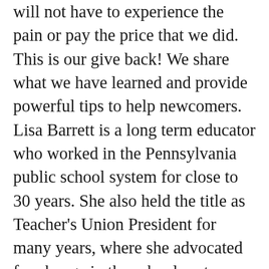will not have to experience the pain or pay the price that we did. This is our give back! We share what we have learned and provide powerful tips to help newcomers. Lisa Barrett is a long term educator who worked in the Pennsylvania public school system for close to 30 years. She also held the title as Teacher's Union President for many years, where she advocated for change in the school system. I'm glad now that she is free, she has picked a new role as a women's prison reform activist to help create change within the federal prison system. We desperately need her help! So, shout out to my friend Lisa Barrett! Not only did you survive your worst fear, you created a manual to help others do the same. You are what I call a true overcomer! May God richly bless you in all your endeavors. Thank you for shining your bright light upon me. You are truly loved and appreciated! UP